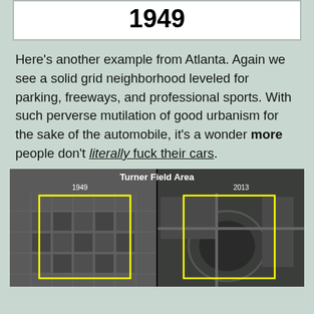1949
Here's another example from Atlanta. Again we see a solid grid neighborhood leveled for parking, freeways, and professional sports. With such perverse mutilation of good urbanism for the sake of the automobile, it's a wonder more people don't literally fuck their cars.
[Figure (photo): Side-by-side aerial comparison of the Turner Field Area in Atlanta: 1949 showing a dense grid neighborhood (highlighted with yellow rectangle), and 2013 showing the same area replaced by stadium and parking (highlighted with yellow rectangle).]